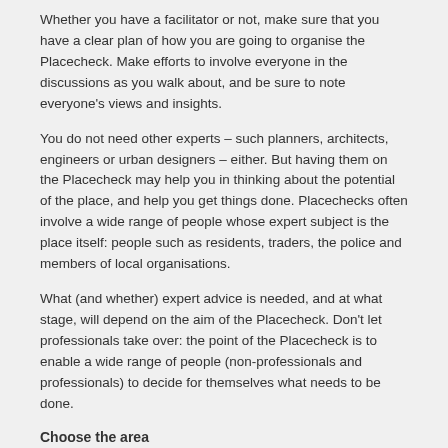Whether you have a facilitator or not, make sure that you have a clear plan of how you are going to organise the Placecheck. Make efforts to involve everyone in the discussions as you walk about, and be sure to note everyone's views and insights.
You do not need other experts – such planners, architects, engineers or urban designers – either. But having them on the Placecheck may help you in thinking about the potential of the place, and help you get things done. Placechecks often involve a wide range of people whose expert subject is the place itself: people such as residents, traders, the police and members of local organisations.
What (and whether) expert advice is needed, and at what stage, will depend on the aim of the Placecheck. Don't let professionals take over: the point of the Placecheck is to enable a wide range of people (non-professionals and professionals) to decide for themselves what needs to be done.
Choose the area